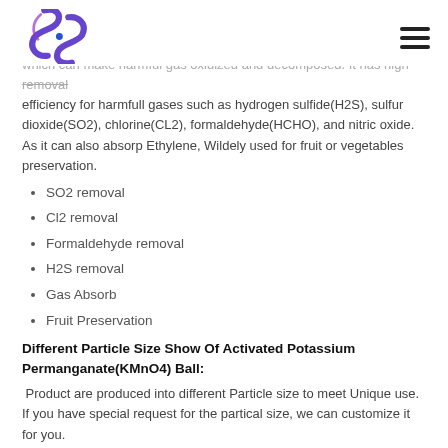Logo and navigation
which can make harmful gas oxidized and decomposed. It has high removal efficiency for harmfull gases such as hydrogen sulfide(H2S), sulfur dioxide(SO2), chlorine(CL2), formaldehyde(HCHO), and nitric oxide. As it can also absorp Ethylene, Wildely used for fruit or vegetables preservation.
SO2 removal
Cl2 removal
Formaldehyde removal
H2S removal
Gas Absorb
Fruit Preservation
Different Particle Size Show Of Activated Potassium Permanganate(KMnO4) Ball:
Product are produced into different Particle size to meet Unique use. If you have special request for the partical size, we can customize it for you.